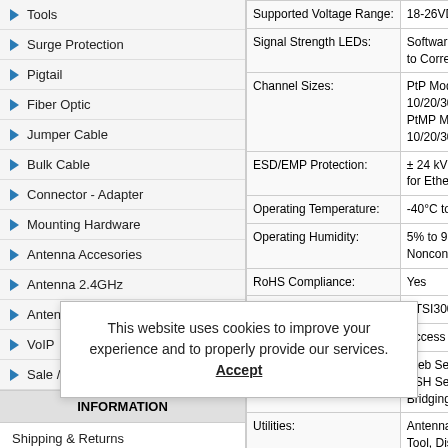Tools
Surge Protection
Pigtail
Fiber Optic
Jumper Cable
Bulk Cable
Connector - Adapter
Mounting Hardware
Antenna Accesories
Antenna 2.4GHz
Antenna 5.xGHz
VoIP
Sale / Open Box
INFORMATION
Shipping & Returns
Privacy Notice
Conditions of Use
Track a Return
Contact Us
| Property | Value |
| --- | --- |
| Supported Voltage Range: | 18-26VDC |
| Signal Strength LEDs: | Software-Adjustable to Correspo... |
| Channel Sizes: | PtP Mode: 10/20/30/40/50/60/80
PtMP Mode: 10/20/30/40 MHz |
| ESD/EMP Protection: | ± 24 kV Contact / Air for Ethernet |
| Operating Temperature: | -40°C to 80°C |
| Operating Humidity: | 5% to 95% Noncondensing |
| RoHS Compliance: | Yes |
| Shock and Vibration: | ETSI300-019-1.4 |
| Modes: | Access Point, Station |
| Services: | Web Server, SNMP, SSH Server, Bridging, Routing |
| Utilities: | Antenna Alignment Tool, Discover..., Traceroute, Speed Test |
| Distance Adjustment: | Dynamic Ack and Ackless Mode |
| Power Adjustment: | Software Adjustable UI or CLI |
| Security: | WPA2 AES Only |
| QoS: | Supports Packet Level Classifica... |
|  | Rate |
| Other: | Remote Reset Support, Software... |
This website uses cookies to improve your experience and to properly provide our services. Accept